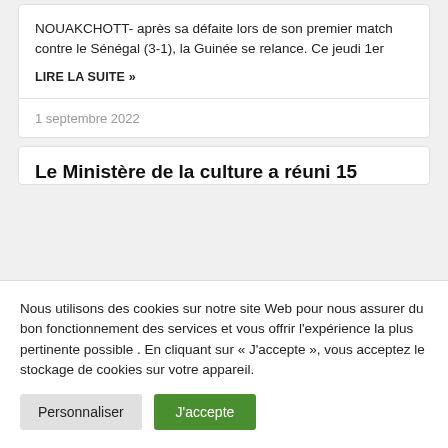NOUAKCHOTT- après sa défaite lors de son premier match contre le Sénégal (3-1), la Guinée se relance.  Ce jeudi 1er
LIRE LA SUITE »
1 septembre 2022
Le Ministère de la culture a réuni 15
Nous utilisons des cookies sur notre site Web pour nous assurer du bon fonctionnement des services et vous offrir l'expérience la plus pertinente possible . En cliquant sur « J'accepte », vous acceptez le stockage de cookies sur votre appareil.
Personnaliser
J'accepte